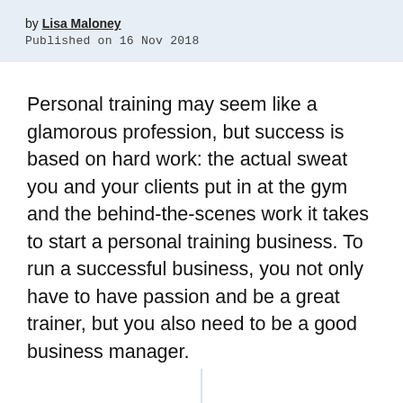by Lisa Maloney
Published on 16 Nov 2018
Personal training may seem like a glamorous profession, but success is based on hard work: the actual sweat you and your clients put in at the gym and the behind-the-scenes work it takes to start a personal training business. To run a successful business, you not only have to have passion and be a great trainer, but you also need to be a good business manager.